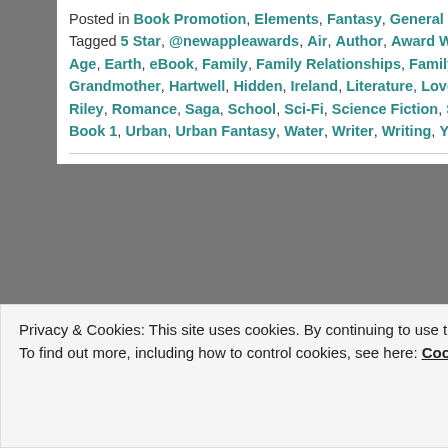Posted in Book Promotion, Elements, Fantasy, General Blogging, Hidden, Photography, The Hidden Saga, Water, Writing | Tagged 5 Star, @newappleawards, Air, Author, Award Winning, Bronte, Bronte Hughes, Bully, Bullying, Children, Coming Of Age, Earth, eBook, Family, Family Relationships, Family Secret, Fantasy, Fear, Fiction, Fire, Friends, Friendships, Grandmother, Hartwell, Hidden, Ireland, Literature, Love, Magical, Nature, Paperback, Paranormal, Powers, Read, Reader, Riley, Romance, Saga, School, Sci-Fi, Science Fiction, Series, Serina, Serina Hartwell, Story, The Elements, The Hidden Saga Book 1, Urban, Urban Fantasy, Water, Writer, Writing, YA, YA Fiction | Leave a reply
Privacy & Cookies: This site uses cookies. By continuing to use this website, you agree to their use. To find out more, including how to control cookies, see here: Cookie Policy